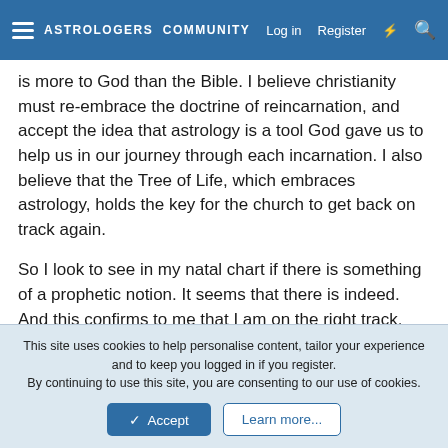ASTROLOGERS COMMUNITY  Log in  Register
is more to God than the Bible. I believe christianity must re-embrace the doctrine of reincarnation, and accept the idea that astrology is a tool God gave us to help us in our journey through each incarnation. I also believe that the Tree of Life, which embraces astrology, holds the key for the church to get back on track again.
So I look to see in my natal chart if there is something of a prophetic notion. It seems that there is indeed. And this confirms to me that I am on the right track. God said it in the prophecy years ago through those prophets, and it is also in my natal chart. 🙂
Bless you!
This site uses cookies to help personalise content, tailor your experience and to keep you logged in if you register. By continuing to use this site, you are consenting to our use of cookies.